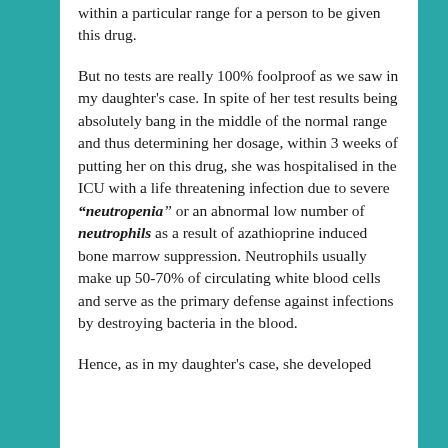within a particular range for a person to be given this drug.
But no tests are really 100% foolproof as we saw in my daughter's case. In spite of her test results being absolutely bang in the middle of the normal range and thus determining her dosage, within 3 weeks of putting her on this drug, she was hospitalised in the ICU with a life threatening infection due to severe “neutropenia” or an abnormal low number of neutrophils as a result of azathioprine induced bone marrow suppression. Neutrophils usually make up 50-70% of circulating white blood cells and serve as the primary defense against infections by destroying bacteria in the blood.
Hence, as in my daughter's case, she developed